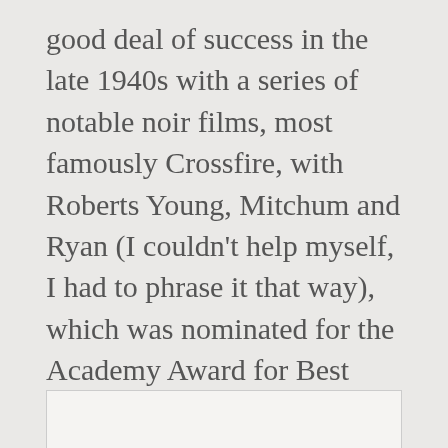good deal of success in the late 1940s with a series of notable noir films, most famously Crossfire, with Roberts Young, Mitchum and Ryan (I couldn't help myself, I had to phrase it that way), which was nominated for the Academy Award for Best Picture in 1948.
[Figure (photo): A mostly blank/white image placeholder with a light border, representing an image that appears partially below the fold.]